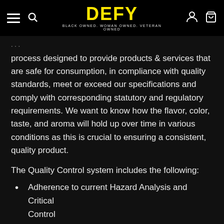DEFY — BLACK OWNED. WOMAN OWNED. VETERAN OWNED
process designed to provide products & services that are safe for consumption, in compliance with quality standards, meet or exceed our specifications and comply with corresponding statutory and regulatory requirements. We want to know how the flavor, color, taste, and aroma will hold up over time in various conditions as this is crucial to ensuring a consistent, quality product.
The Quality Control system includes the following:
Adherence to current Hazard Analysis and Critical Control
Points (HACCP) Guidelines
cGMP Facility Certifications
FDA Compliance
SQF Certification